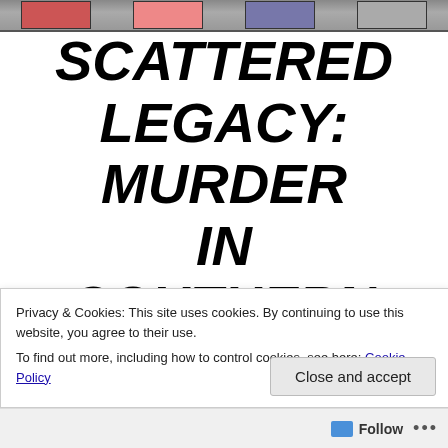[Figure (photo): Top banner image strip showing book covers or promotional images with dark background]
SCATTERED LEGACY: MURDER IN SOUTHERN ITALY Annalisse Series,
Privacy & Cookies: This site uses cookies. By continuing to use this website, you agree to their use.
To find out more, including how to control cookies, see here: Cookie Policy
Close and accept
Follow